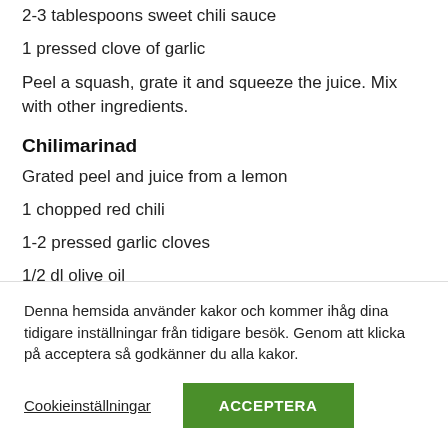2-3 tablespoons sweet chili sauce
1 pressed clove of garlic
Peel a squash, grate it and squeeze the juice. Mix with other ingredients.
Chilimarinad
Grated peel and juice from a lemon
1 chopped red chili
1-2 pressed garlic cloves
1/2 dl olive oil
1 tablespoon honey
Peel a squash, grate it and squeeze the juice. Chop the chili with
Denna hemsida använder kakor och kommer ihåg dina tidigare inställningar från tidigare besök. Genom att klicka på acceptera så godkänner du alla kakor.
Cookieinställningar
ACCEPTERA